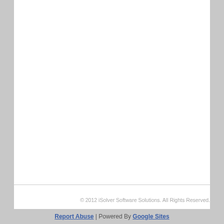© 2012 iSolver Software Solutions. All Rights Reserved.
Report Abuse | Powered By Google Sites